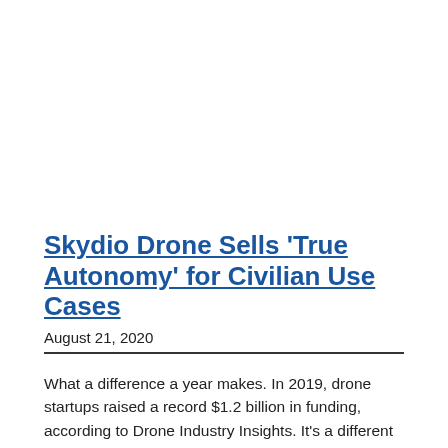Skydio Drone Sells ‘True Autonomy’ for Civilian Use Cases
August 21, 2020
What a difference a year makes. In 2019, drone startups raised a record $1.2 billion in funding, according to Drone Industry Insights. It’s a different story in 2020: Through mid-August, only about $240 million in disclosed capital has flowed into private companies, based on public data